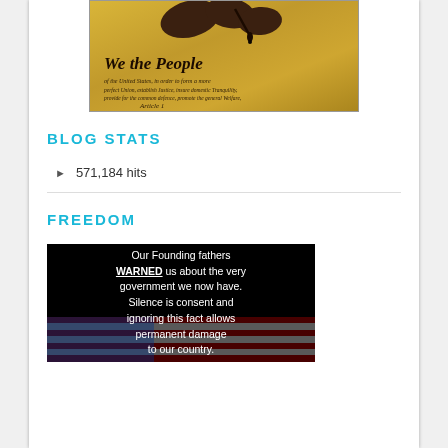[Figure (photo): Hands signing or touching the US Constitution document showing 'We the People' text in calligraphy]
BLOG STATS
571,184 hits
FREEDOM
[Figure (illustration): Black background image with white text reading: Our Founding fathers WARNED us about the very government we now have. Silence is consent and ignoring this fact allows permanent damage to our country. This NOT... with American flag overlay at bottom]